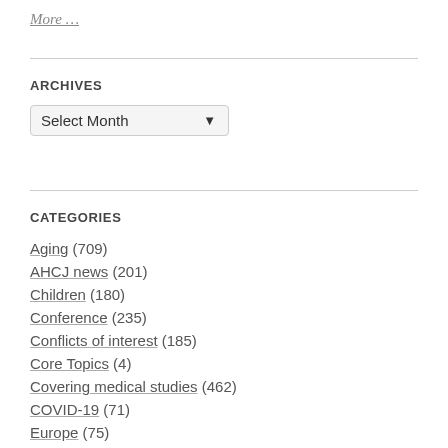More …
ARCHIVES
Select Month
CATEGORIES
Aging (709)
AHCJ news (201)
Children (180)
Conference (235)
Conflicts of interest (185)
Core Topics (4)
Covering medical studies (462)
COVID-19 (71)
Europe (75)
Freelancing (135)